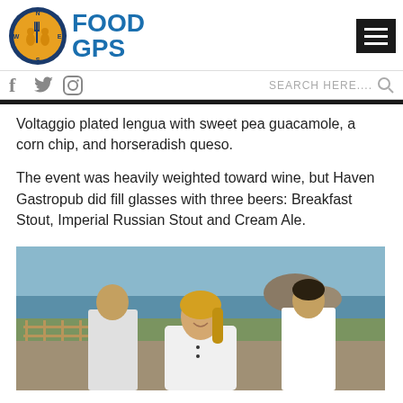[Figure (logo): Food GPS logo with circular compass/fork icon and bold blue FOOD GPS text]
Voltaggio plated lengua with sweet pea guacamole, a corn chip, and horseradish queso.
The event was heavily weighted toward wine, but Haven Gastropub did fill glasses with three beers: Breakfast Stout, Imperial Russian Stout and Cream Ale.
[Figure (photo): Woman in white chef coat smiling at camera outdoors near coastal rock formations, with other people in background]